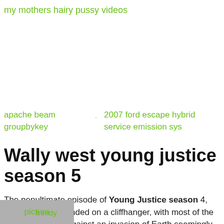my mothers hairy pussy videos
apache beam groupbykey
2007 ford escape hybrid service emission sys
Wally west young justice season 5
The penultimate episode of Young Justice season 4, "Over and Out," ended on a cliffhanger, with most of the heroes standing against an invasion of Earth seemingly killed and a brainwashed Superboy poised to kill
trendy
picture